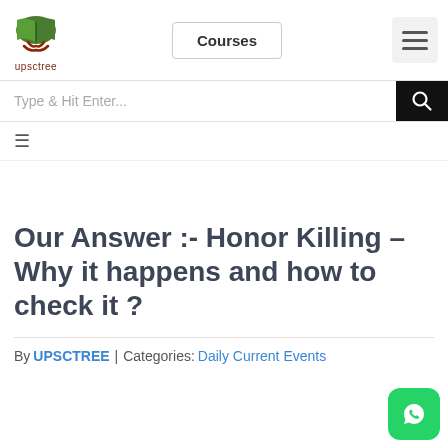upsctree | Courses | Menu
Type & Hit Enter...
Our Answer :- Honor Killing – Why it happens and how to check it ?
By UPSCTREE | Categories: Daily Current Events